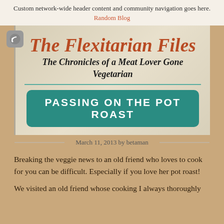Custom network-wide header content and community navigation goes here. Random Blog
The Flexitarian Files
The Chronicles of a Meat Lover Gone Vegetarian
PASSING ON THE POT ROAST
March 11, 2013 by betaman
Breaking the veggie news to an old friend who loves to cook for you can be difficult. Especially if you love her pot roast!
We visited an old friend whose cooking I always thoroughly